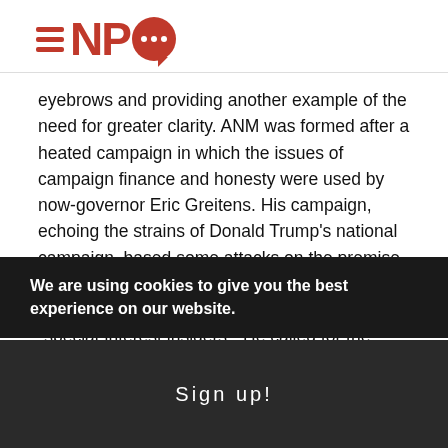NPQ logo
eyebrows and providing another example of the need for greater clarity. ANM was formed after a heated campaign in which the issues of campaign finance and honesty were used by now-governor Eric Greitens. His campaign, echoing the strains of Donald Trump’s national campaign, based some attacks on the premise that Missouri’s government teems with “corrupt career politicians,” “well-paid lobbyists,” and “special-interest insiders.” He called for the passage of new statutes to create more honesty in government.
According to a recent story in the Kansas City Star, A
We are using cookies to give you the best experience on our website.
Sign up!